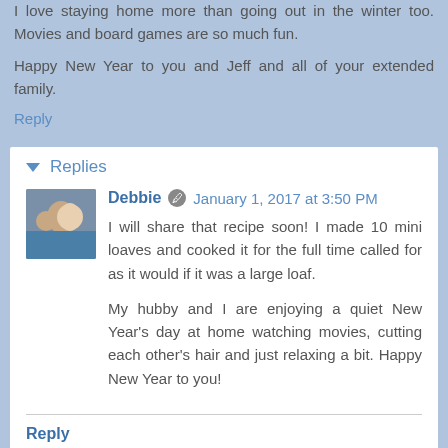I love staying home more than going out in the winter too. Movies and board games are so much fun.
Happy New Year to you and Jeff and all of your extended family.
Reply
Replies
Debbie  January 1, 2017 at 3:50 PM
I will share that recipe soon! I made 10 mini loaves and cooked it for the full time called for as it would if it was a large loaf.

My hubby and I are enjoying a quiet New Year's day at home watching movies, cutting each other's hair and just relaxing a bit. Happy New Year to you!
Reply